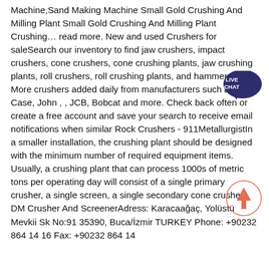Machine,Sand Making Machine Small Gold Crushing And Milling Plant Small Gold Crushing And Milling Plant Crushing… read more. New and used Crushers for saleSearch our inventory to find jaw crushers, impact crushers, cone crushers, cone crushing plants, jaw crushing plants, roll crushers, roll crushing plants, and hammermills. More crushers added daily from manufacturers such as , Case, John , , JCB, Bobcat and more. Check back often or create a free account and save your search to receive email notifications when similar Rock Crushers - 911MetallurgistIn a smaller installation, the crushing plant should be designed with the minimum number of required equipment items. Usually, a crushing plant that can process 1000s of metric tons per operating day will consist of a single primary crusher, a single screen, a single secondary cone crusher DM Crusher And ScreenerAdress: Karacaağaç, Yolüstü Mevkii Sk No:91 35390, Buca/İzmir TURKEY Phone: +90232 864 14 16 Fax: +90232 864 14
[Figure (other): Live Chat speech bubble badge in dark navy blue with white text 'LIVE CHAT']
[Figure (other): Circular up-arrow button with coral/orange arrow inside a thin circle outline]